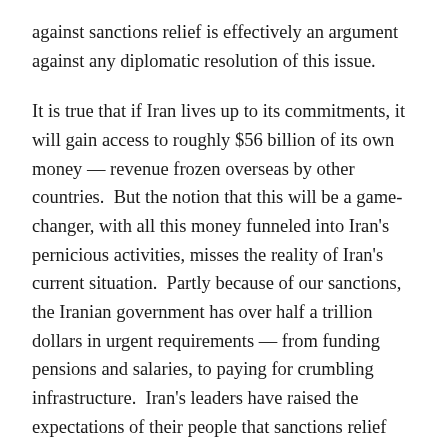against sanctions relief is effectively an argument against any diplomatic resolution of this issue.
It is true that if Iran lives up to its commitments, it will gain access to roughly $56 billion of its own money — revenue frozen overseas by other countries.  But the notion that this will be a game-changer, with all this money funneled into Iran's pernicious activities, misses the reality of Iran's current situation.  Partly because of our sanctions, the Iranian government has over half a trillion dollars in urgent requirements — from funding pensions and salaries, to paying for crumbling infrastructure.  Iran's leaders have raised the expectations of their people that sanctions relief will improve their lives.  Even a repressive regime like Iran's cannot completely ignore those expectations.  And that's why our best analysts expect the bulk of this revenue to go into spending that improves the economy and benefits the